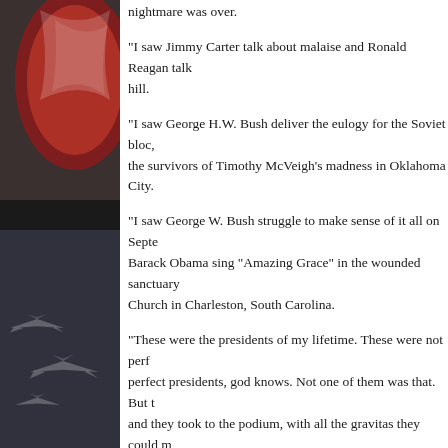[Figure (photo): A decorative photo on the left side of the page, showing a red and white structure (possibly a fence or patterned surface) in the upper portion, and what appears to be military jets or aircraft in the lower portion, with a dark sky background.]
nightmare was over.
“I saw Jimmy Carter talk about malaise and Ronald Reagan talk hill.
“I saw George H.W. Bush deliver the eulogy for the Soviet bloc, the survivors of Timothy McVeigh’s madness in Oklahoma City.
“I saw George W. Bush struggle to make sense of it all on Septe Barack Obama sing “Amazing Grace” in the wounded sanctuary Church in Charleston, South Carolina.
“These were the presidents of my lifetime. These were not perf perfect presidents, god knows. Not one of them was that. But t and they took to the podium, with all the gravitas they could m job. They tried, at least, to reach for something in the presiden grasp as ordinary human beings. They were not all ennobled by nonetheless.